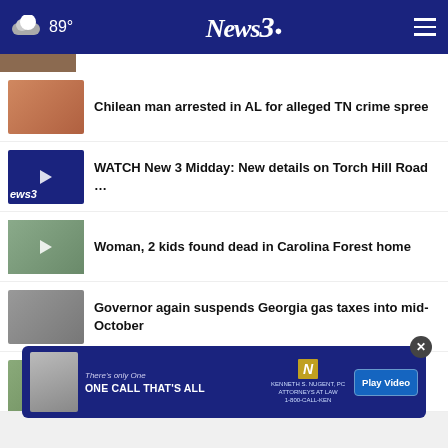89° News3
[Figure (photo): Partial thumbnail image at top]
[Figure (photo): Mugshot of Chilean man in orange clothing]
Chilean man arrested in AL for alleged TN crime spree
[Figure (photo): News 3 logo thumbnail with play button]
WATCH New 3 Midday: New details on Torch Hill Road …
[Figure (photo): Parking lot scene with play button overlay]
Woman, 2 kids found dead in Carolina Forest home
[Figure (photo): Gas pump closeup]
Governor again suspends Georgia gas taxes into mid-October
[Figure (photo): Road scene thumbnail]
Two men killed in Torch Hill Road shooting, third …
[Figure (infographic): Advertisement banner: There's only One ONE CALL THAT'S ALL Kenneth S. Nugent, PC 1-800-CALL-KEN - Play Video button]